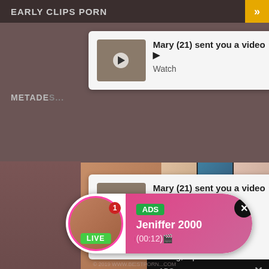EARLY CLIPS PORN
METADE...
[Figure (screenshot): Notification popup 1: Mary (21) sent you a video - Watch]
[Figure (screenshot): Notification popup 2: Mary (21) sent you a video - Watch, with WHAT DO YOU WANT? / WATCH / Online overlay]
[Figure (screenshot): Adult content thumbnails with overlay: Cumming, ass fucking, squirt or... ADS]
[Figure (screenshot): Live notification: ADS Jeniffer 2000 (00:12) LIVE badge]
© 2019 WWW.BESTPORN...